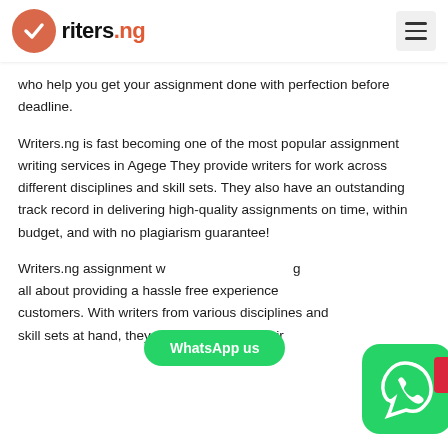Writers.ng [logo]
who help you get your assignment done with perfection before deadline.
Writers.ng is fast becoming one of the most popular assignment writing services in Agege They provide writers for work across different disciplines and skill sets. They also have an outstanding track record in delivering high-quality assignments on time, within budget, and with no plagiarism guarantee!
Writers.ng assignment w... all about providing a hassle free experience... customers. With writers from various disciplines and skill sets at hand, they never disappoint their